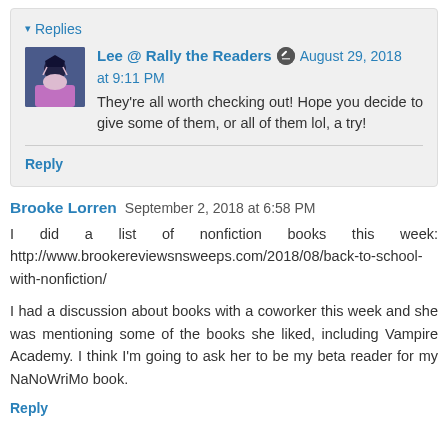▾ Replies
Lee @ Rally the Readers  August 29, 2018 at 9:11 PM
They're all worth checking out! Hope you decide to give some of them, or all of them lol, a try!
Reply
Brooke Lorren  September 2, 2018 at 6:58 PM
I did a list of nonfiction books this week: http://www.brookereviewsnsweeps.com/2018/08/back-to-school-with-nonfiction/
I had a discussion about books with a coworker this week and she was mentioning some of the books she liked, including Vampire Academy. I think I'm going to ask her to be my beta reader for my NaNoWriMo book.
Reply